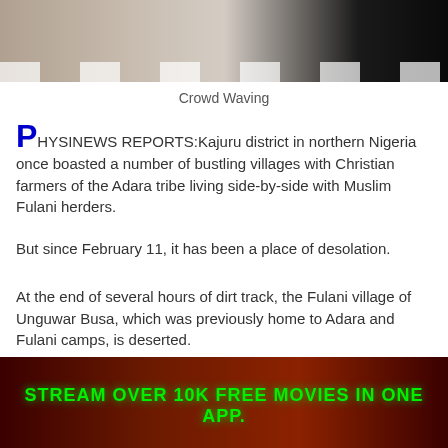[Figure (photo): Top portion of a photo showing a car on a road, with road markings visible]
Crowd Waving
PHYSISINEWS REPORTS:Kajuru district in northern Nigeria once boasted a number of bustling villages with Christian farmers of the Adara tribe living side-by-side with Muslim Fulani herders.
But since February 11, it has been a place of desolation.
At the end of several hours of dirt track, the Fulani village of Unguwar Busa, which was previously home to Adara and Fulani camps, is deserted.
[Figure (screenshot): Advertisement banner: STREAM OVER 10K FREE MOVIES IN ONE APP in green glowing text on dark red/orange background]
[Figure (infographic): Social media sharing buttons: Facebook, Twitter, Email, Pinterest, WhatsApp, Print, Gmail, LinkedIn]